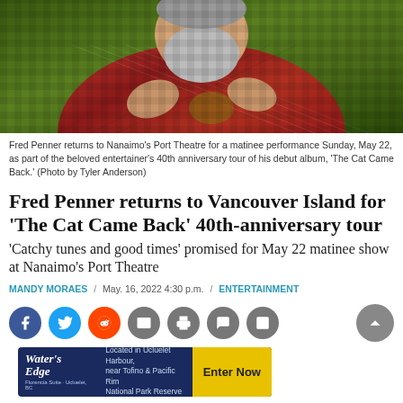[Figure (photo): Fred Penner holding a guitar or instrument, wearing a plaid shirt, with a grey beard, photographed outdoors with a blurred green background]
Fred Penner returns to Nanaimo's Port Theatre for a matinee performance Sunday, May 22, as part of the beloved entertainer's 40th anniversary tour of his debut album, 'The Cat Came Back.' (Photo by Tyler Anderson)
Fred Penner returns to Vancouver Island for 'The Cat Came Back' 40th-anniversary tour
'Catchy tunes and good times' promised for May 22 matinee show at Nanaimo's Port Theatre
MANDY MORAES / May. 16, 2022 4:30 p.m. / ENTERTAINMENT
[Figure (other): Social media sharing buttons: Facebook, Twitter, Reddit, Email, Print, Comment, Gallery, and scroll-to-top button]
[Figure (other): Advertisement banner for Water's Edge resort located in Ucluelet Harbour, near Tofino & Pacific Rim National Park Reserve with Enter Now call to action]